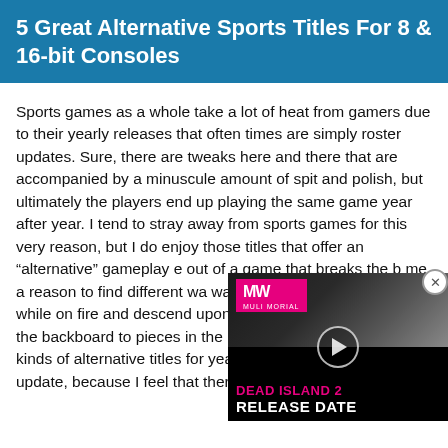5 Great Alternative Sports Titles For 8 & 16-bit Consoles
Sports games as a whole take a lot of heat from gamers due to their yearly releases that often times are simply roster updates. Sure, there are tweaks here and there that are accompanied by a minuscule amount of spit and polish, but ultimately the players end up playing the same game year after year. I tend to stray away from sports games for this very reason, but I do enjoy those titles that offer an "alternative" gameplay e... out of a game that breaks the b... me a reason to find different wa... ways. I want the ability to jump ... while on fire and descend upon n... basketball and smashing the backboard to pieces in the process. I can play these kinds of alternative titles for years on end, even without an update, because I feel that there is i...
[Figure (screenshot): Video overlay showing MW logo and Dead Island 2 Release Date promo with play button]